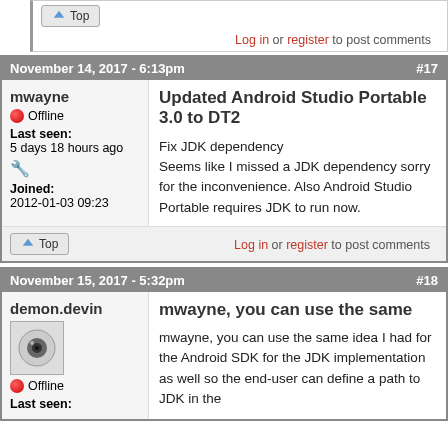[Figure (screenshot): Forum page showing comment thread with user posts about Android Studio Portable JDK dependency fix]
Log in or register to post comments
November 14, 2017 - 6:13pm  #17
mwayne
Offline
Last seen: 5 days 18 hours ago
Joined: 2012-01-03 09:23
Updated Android Studio Portable 3.0 to DT2
Fix JDK dependency
Seems like I missed a JDK dependency sorry for the inconvenience. Also Android Studio Portable requires JDK to run now.
Log in or register to post comments
November 15, 2017 - 5:32pm  #18
demon.devin
Offline
Last seen:
mwayne, you can use the same
mwayne, you can use the same idea I had for the Android SDK for the JDK implementation as well so the end-user can define a path to JDK in the